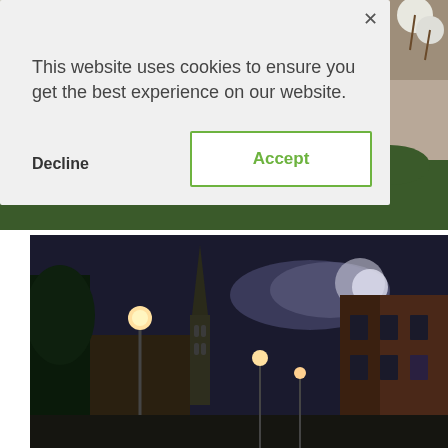[Figure (photo): Top portion: garden photo showing green plants, gravel, and flowers partially visible behind the cookie consent dialog. Bottom portion visible below the dialog shows green foliage.]
[Figure (photo): Night street scene in a European town showing a church spire, street lamps, historic buildings with a moonlit cloudy sky.]
This website uses cookies to ensure you get the best experience on our website.
Decline
Accept